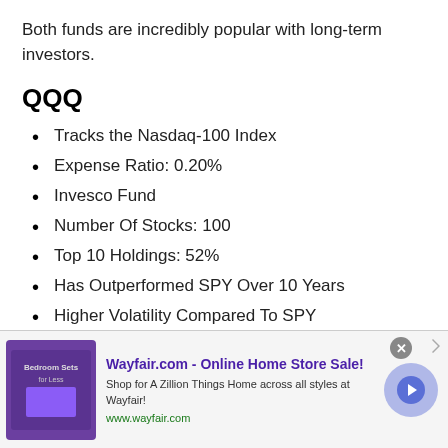Both funds are incredibly popular with long-term investors.
QQQ
Tracks the Nasdaq-100 Index
Expense Ratio: 0.20%
Invesco Fund
Number Of Stocks: 100
Top 10 Holdings: 52%
Has Outperformed SPY Over 10 Years
Higher Volatility Compared To SPY
SPY
[Figure (other): Advertisement banner for Wayfair.com - Online Home Store Sale! with product image and navigation arrow.]